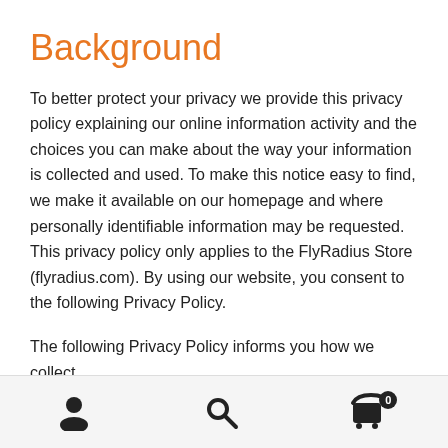Background
To better protect your privacy we provide this privacy policy explaining our online information activity and the choices you can make about the way your information is collected and used. To make this notice easy to find, we make it available on our homepage and where personally identifiable information may be requested. This privacy policy only applies to the FlyRadius Store (flyradius.com). By using our website, you consent to the following Privacy Policy.
The following Privacy Policy informs you how we collect, process, store and share information including the
navigation icons: user, search, cart (0)